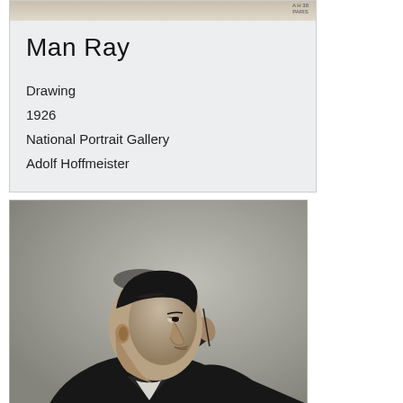[Figure (photo): Top portion of a drawing or document card with a small stamp reading 'AH 38 PARIS' in the upper right corner]
Man Ray
Drawing
1926
National Portrait Gallery
Adolf Hoffmeister
[Figure (photo): Black and white photograph of a man in profile/three-quarter view, seated with his hand raised near his face holding what appears to be a thin object (pen or cigarette), wearing a dark jacket. The subject appears to be Adolf Hoffmeister or Man Ray.]